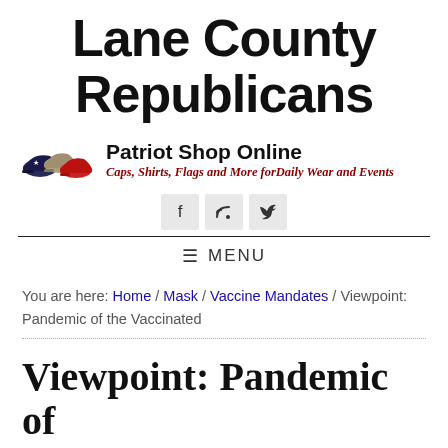Lane County Republicans
[Figure (logo): Patriot Shop Online banner with patriotic caps image, bold title 'Patriot Shop Online', and italic red subtitle 'Caps, Shirts, Flags and More forDaily Wear and Events']
[Figure (infographic): Social media icons: Facebook (f), RSS feed, Twitter (bird)]
MENU
You are here: Home / Mask / Vaccine Mandates / Viewpoint: Pandemic of the Vaccinated
Viewpoint: Pandemic of